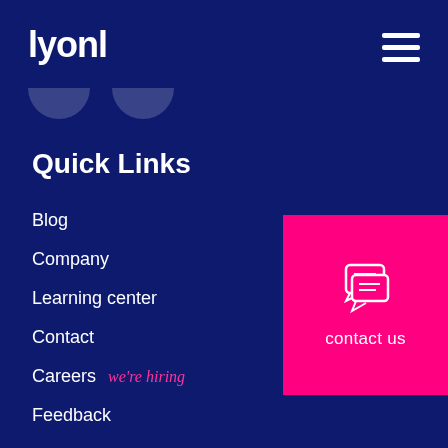lyonl
[Figure (logo): lyonl logo text in white bold font on dark blue background with hamburger menu icon top right]
Quick Links
Blog
Company
Learning center
Contact
Careers we're hiring
Feedback
[Figure (illustration): Pink contact us button with chat bubble icon on right side]